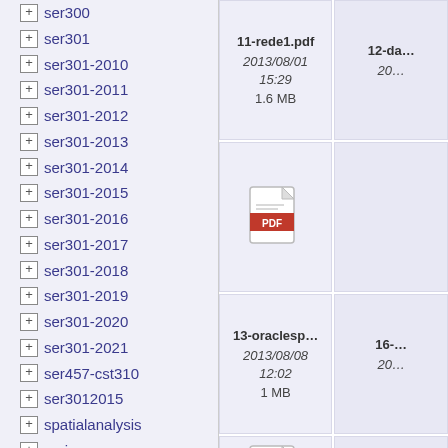+ ser300
+ ser301
+ ser301-2010
+ ser301-2011
+ ser301-2012
+ ser301-2013
+ ser301-2014
+ ser301-2015
+ ser301-2016
+ ser301-2017
+ ser301-2018
+ ser301-2019
+ ser301-2020
+ ser301-2021
+ ser457-cst310
+ ser3012015
+ spatialanalysis
+ spring
+ srtm_no_spring
+ talk
+ terrahidro
+ terrapixel
+ thales
[Figure (screenshot): File browser showing PDF files with names, dates and sizes. File 11-rede1.pdf dated 2013/08/01 15:29, 1.6 MB. File 12-da... (truncated). PDF icon shown for another file. File 13-oraclesp... dated 2013/08/08 12:02, 1 MB. File 16-... (truncated). PDF icon shown at bottom.]